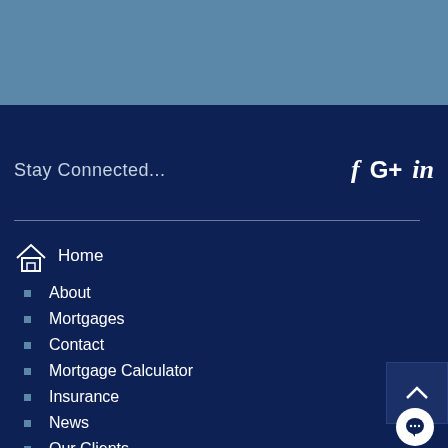[Figure (screenshot): Blue steel top banner area]
Stay Connected...
[Figure (logo): Social media icons: f (Facebook), G+ (Google Plus), in (LinkedIn)]
Home
About
Mortgages
Contact
Mortgage Calculator
Insurance
News
Our Clients